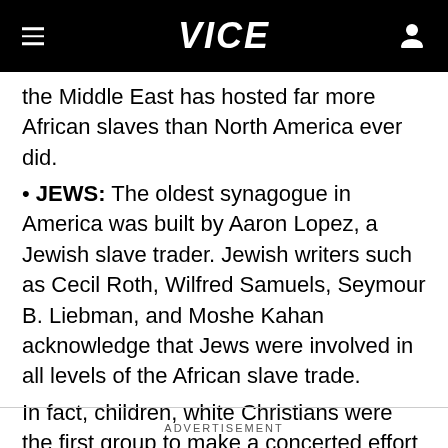VICE
the Middle East has hosted far more African slaves than North America ever did.
• JEWS: The oldest synagogue in America was built by Aaron Lopez, a Jewish slave trader. Jewish writers such as Cecil Roth, Wilfred Samuels, Seymour B. Liebman, and Moshe Kahan acknowledge that Jews were involved in all levels of the African slave trade.
In fact, children, white Christians were the first group to make a concerted effort to ABOLISH slavery.
ADVERTISEMENT